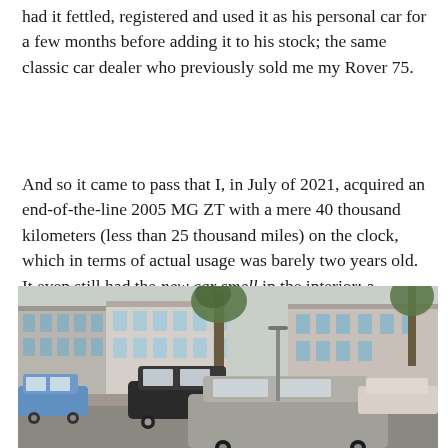had it fettled, registered and used it as his personal car for a few months before adding it to his stock; the same classic car dealer who previously sold me my Rover 75.
And so it came to pass that I, in July of 2021, acquired an end-of-the-line 2005 MG ZT with a mere 40 thousand kilometers (less than 25 thousand miles) on the clock, which in terms of actual usage was barely two years old. It even still had the new car smell in the interior; a genuine timewarp vehicle.
[Figure (photo): Street scene showing parked cars including what appears to be an MG ZT in the foreground, with Dutch-style brick buildings in the background. Trees are visible along the street.]